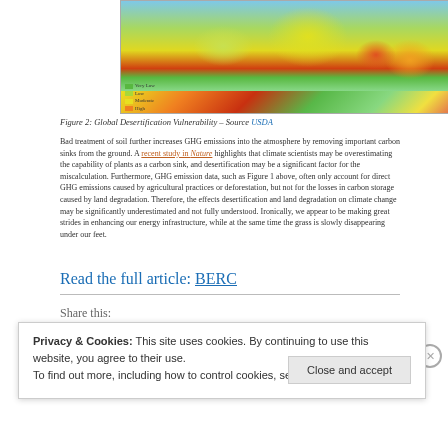[Figure (map): Global Desertification Vulnerability map showing color-coded vulnerability levels worldwide, sourced from USDA. Legend shows vulnerability categories in green, yellow, orange, and red tones.]
Figure 2: Global Desertification Vulnerability – Source USDA
Bad treatment of soil further increases GHG emissions into the atmosphere by removing important carbon sinks from the ground. A recent study in Nature highlights that climate scientists may be overestimating the capability of plants as a carbon sink, and desertification may be a significant factor for the miscalculation. Furthermore, GHG emission data, such as Figure 1 above, often only account for direct GHG emissions caused by agricultural practices or deforestation, but not for the losses in carbon storage caused by land degradation. Therefore, the effects desertification and land degradation on climate change may be significantly underestimated and not fully understood. Ironically, we appear to be making great strides in enhancing our energy infrastructure, while at the same time the grass is slowly disappearing under our feet.
Read the full article: BERC
Share this:
Privacy & Cookies: This site uses cookies. By continuing to use this website, you agree to their use. To find out more, including how to control cookies, see here: Cookie Policy